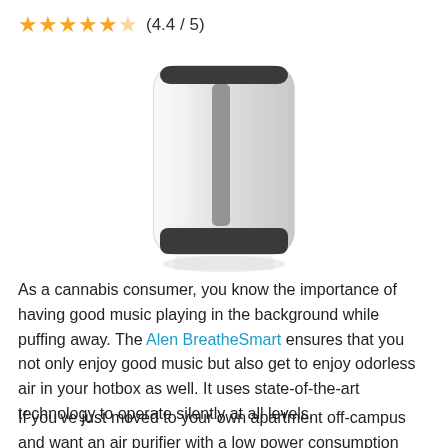★★★★★ (4.4 / 5)
[Figure (photo): Photo of the Alen BreatheSmart air purifier — a tall, rounded-rectangular white unit with a dark base and a vertical strip on the front panel, shown with a subtle reflection beneath it.]
As a cannabis consumer, you know the importance of having good music playing in the background while puffing away. The Alen BreatheSmart ensures that you not only enjoy good music but also get to enjoy odorless air in your hotbox as well. It uses state-of-the-art technology to operate silently at all levels.
If you've just moved to your own apartment off-campus and want an air purifier with a low power consumption rate, this is